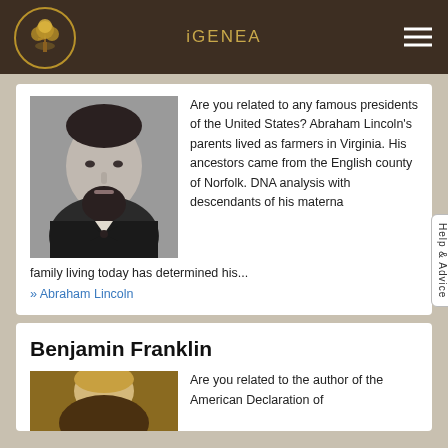iGENEA
[Figure (photo): Black and white photograph portrait of Abraham Lincoln]
Are you related to any famous presidents of the United States? Abraham Lincoln's parents lived as farmers in Virginia. His ancestors came from the English county of Norfolk. DNA analysis with descendants of his maternal family living today has determined his...
» Abraham Lincoln
Benjamin Franklin
[Figure (photo): Portrait painting of Benjamin Franklin]
Are you related to the author of the American Declaration of